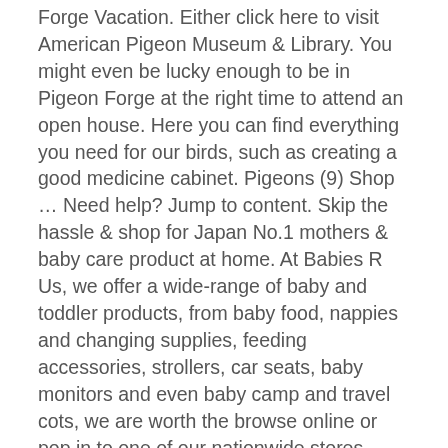Forge Vacation. Either click here to visit American Pigeon Museum & Library. You might even be lucky enough to be in Pigeon Forge at the right time to attend an open house. Here you can find everything you need for our birds, such as creating a good medicine cabinet. Pigeons (9) Shop … Need help? Jump to content. Skip the hassle & shop for Japan No.1 mothers & baby care product at home. At Babies R Us, we offer a wide-range of baby and toddler products, from baby food, nappies and changing supplies, feeding accessories, strollers, car seats, baby monitors and even baby camp and travel cots, we are worth the browse online or pop in to one of our nationwide stores. Results can be filtered just as with our original website service, but can now be accessed literally at your fingertips. Established in 1979 Three Bears General Store is a true Pigeon Forge destination. These pigeons are 3-12 month old